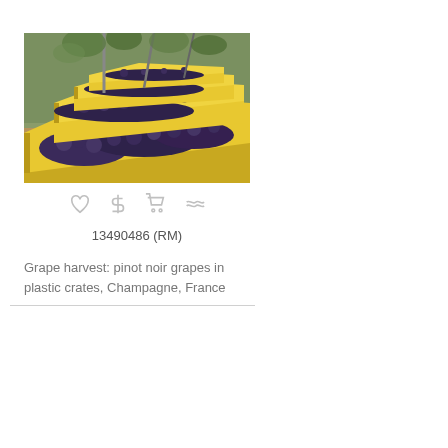[Figure (photo): Grape harvest: rows of yellow plastic crates filled with dark pinot noir grapes in a vineyard in Champagne, France]
13490486 (RM)
Grape harvest: pinot noir grapes in plastic crates, Champagne, France